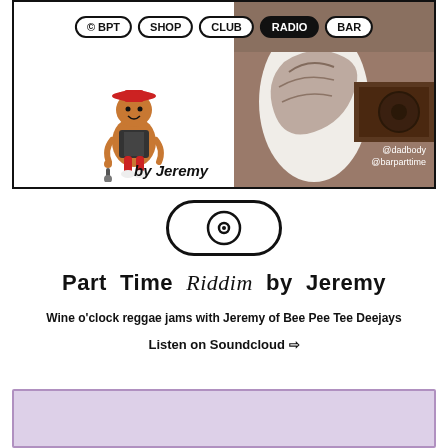[Figure (screenshot): Website screenshot showing navigation bar with pills: © BPT, SHOP, CLUB, RADIO (active/dark), BAR. Left side has a cartoon character illustration with 'by Jeremy' text. Right side has a photo of a tattooed arm/DJ with @dadbody @barparttime caption.]
[Figure (illustration): Play button pill shape with circle/dot icon in center]
Part Time Riddim by Jeremy
Wine o'clock reggae jams with Jeremy of Bee Pee Tee Deejays
Listen on Soundcloud ⇨
[Figure (other): Bottom section with light purple/lavender background card]